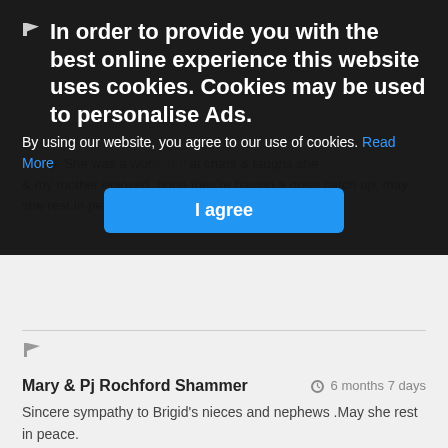In order to provide you with the best online experience this website uses cookies. Cookies may be used to personalise Ads.
By using our website, you agree to our use of cookies. Read More
I agree
she rest in peace reunited with Patrick.
Mary & Pj Rochford Shammer  6 months 7 days
Sincere sympathy to Brigid's nieces and nephews .May she rest in peace.